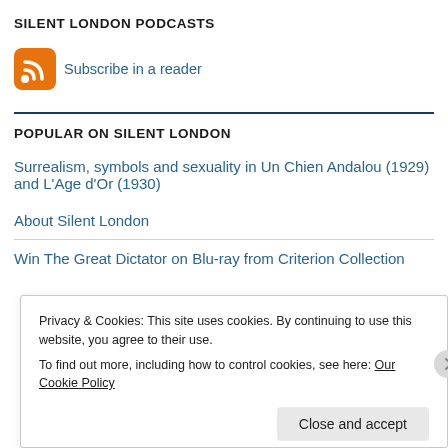SILENT LONDON PODCASTS
[Figure (logo): RSS feed icon (orange rounded square with white RSS signal waves) followed by blue link text 'Subscribe in a reader']
POPULAR ON SILENT LONDON
Surrealism, symbols and sexuality in Un Chien Andalou (1929) and L'Age d'Or (1930)
About Silent London
Win The Great Dictator on Blu-ray from Criterion Collection
Privacy & Cookies: This site uses cookies. By continuing to use this website, you agree to their use.
To find out more, including how to control cookies, see here: Our Cookie Policy
Close and accept